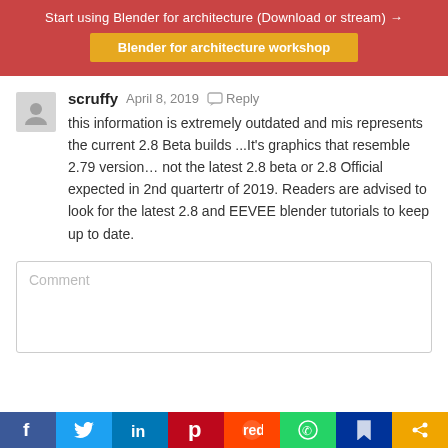Start using Blender for architecture (Download or stream) →
Blender for architecture workshop
scruffy   April 8, 2019    Reply
this information is extremely outdated and mis represents the current 2.8 Beta builds ...It's graphics that resemble 2.79 version... not the latest 2.8 beta or 2.8 Official expected in 2nd quartertr of 2019. Readers are advised to look for the latest 2.8 and EEVEE blender tutorials to keep up to date.
Comment
Facebook | Twitter | LinkedIn | Pinterest | Reddit | WhatsApp | Save | Share